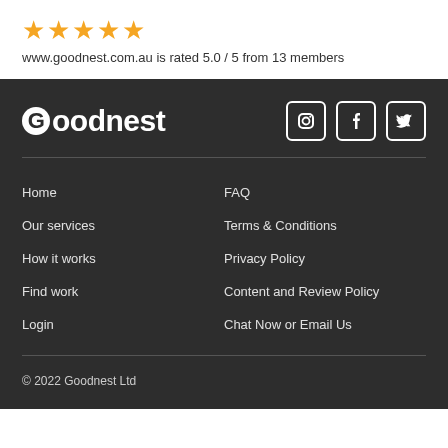[Figure (other): Five gold star rating icons]
www.goodnest.com.au is rated 5.0 / 5 from 13 members
[Figure (logo): Goodnest logo in white text on dark background with Instagram, Facebook, Twitter icons]
Home
FAQ
Our services
Terms & Conditions
How it works
Privacy Policy
Find work
Content and Review Policy
Login
Chat Now or Email Us
© 2022 Goodnest Ltd